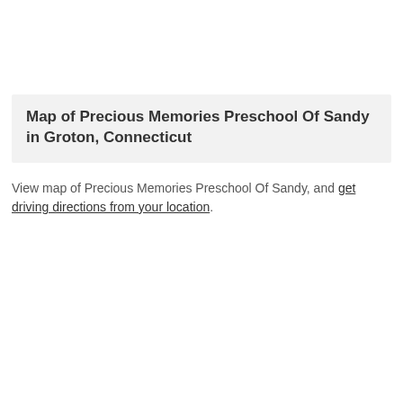Map of Precious Memories Preschool Of Sandy in Groton, Connecticut
View map of Precious Memories Preschool Of Sandy, and get driving directions from your location.